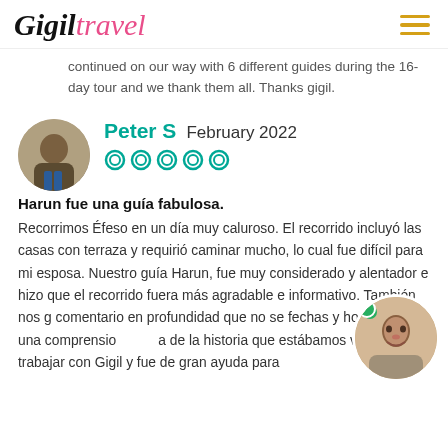Gigil Travel
continued on our way with 6 different guides during the 16-day tour and we thank them all. Thanks gigil.
Peter S  February 2022
[Figure (other): Five filled Tripadvisor green circle star rating icons]
Harun fue una guía fabulosa.
Recorrimos Éfeso en un día muy caluroso. El recorrido incluyó las casas con terraza y requirió caminar mucho, lo cual fue difícil para mi esposa. Nuestro guía Harun, fue muy considerado y alentador e hizo que el recorrido fuera más agradable e informativo. También nos g comentario en profundidad que no se fechas y horas, sino a una comprensio a de la historia que estábamos viendo. Fue trabajar con Gigil y fue de gran ayuda para
[Figure (photo): Circular avatar photo of a man with beard smiling, with a green online indicator dot]